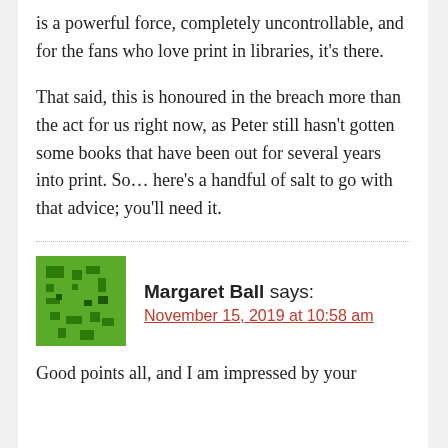is a powerful force, completely uncontrollable, and for the fans who love print in libraries, it's there.
That said, this is honoured in the breach more than the act for us right now, as Peter still hasn't gotten some books that have been out for several years into print. So… here's a handful of salt to go with that advice; you'll need it.
Margaret Ball says:
November 15, 2019 at 10:58 am
Good points all, and I am impressed by your